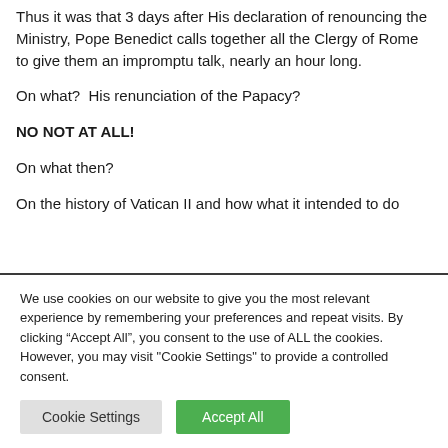Thus it was that 3 days after His declaration of renouncing the Ministry, Pope Benedict calls together all the Clergy of Rome to give them an impromptu talk, nearly an hour long.
On what?  His renunciation of the Papacy?
NO NOT AT ALL!
On what then?
On the history of Vatican II and how what it intended to do
We use cookies on our website to give you the most relevant experience by remembering your preferences and repeat visits. By clicking "Accept All", you consent to the use of ALL the cookies. However, you may visit "Cookie Settings" to provide a controlled consent.